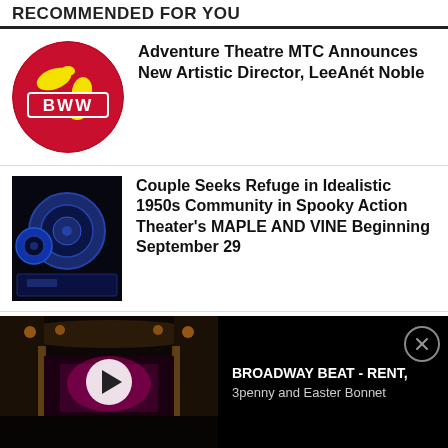RECOMMENDED FOR YOU
Adventure Theatre MTC Announces New Artistic Director, LeeAnét Noble
[Figure (logo): BWW globe logo - red globe with yellow continents and a red banner saying BWW in white bold text]
Couple Seeks Refuge in Idealistic 1950s Community in Spooky Action Theater's MAPLE AND VINE Beginning September 29
[Figure (photo): Blue-toned mechanical/industrial machinery image on dark background]
Cast Announced for HEROES OF THE FOURTH TURNING at Studio Theatre
[Figure (logo): Studio Theatre logo - white text STUDIO on black background]
[Figure (screenshot): Ad bar at bottom: video thumbnail of theatre interior with play button; text reads BROADWAY BEAT - RENT, 3penny and Easter Bonnet; close X button]